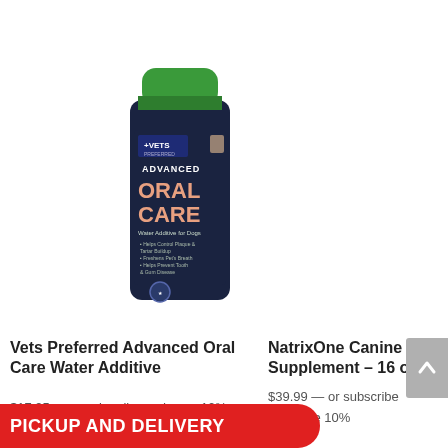[Figure (photo): Vets Preferred Advanced Oral Care Water Additive product bottle with dark blue label and green cap]
Vets Preferred Advanced Oral Care Water Additive
NatrixOne Canine Supplement – 16 oz
$17.95 — or subscribe and save 10%
$39.99 — or subscribe and save 10%
PICKUP AND DELIVERY